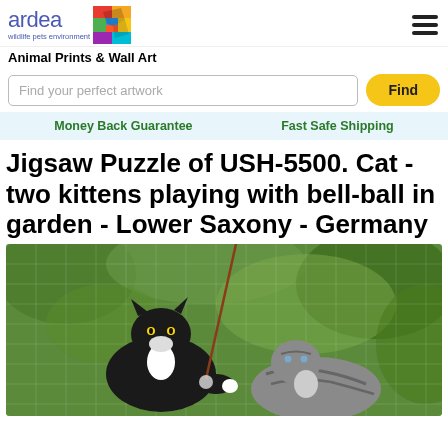[Figure (logo): Ardea wildlife pets environment logo with rainbow-colored bird graphic]
Animal Prints & Wall Art
Find your perfect artwork
Find
Money Back Guarantee    Fast Safe Shipping
Jigsaw Puzzle of USH-5500. Cat - two kittens playing with bell-ball in garden - Lower Saxony - Germany
[Figure (photo): Jigsaw puzzle image of two kittens - a black and white cat and a grey tabby - playing with a bell-ball on a string in a garden with green foliage background]